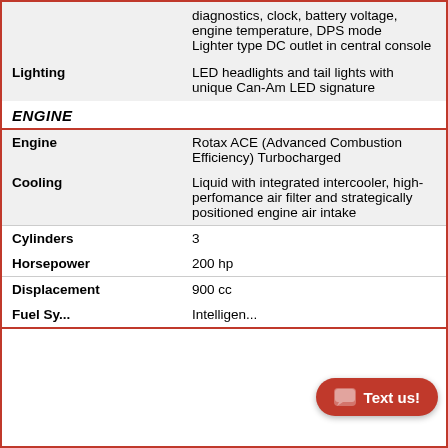| Feature | Details |
| --- | --- |
|  | diagnostics, clock, battery voltage, engine temperature, DPS mode
Lighter type DC outlet in central console |
| Lighting | LED headlights and tail lights with unique Can-Am LED signature |
ENGINE
| Feature | Details |
| --- | --- |
| Engine | Rotax ACE (Advanced Combustion Efficiency) Turbocharged |
| Cooling | Liquid with integrated intercooler, high-perfomance air filter and strategically positioned engine air intake |
| Cylinders | 3 |
| Horsepower | 200 hp |
| Displacement | 900 cc |
| Fuel System | Intelligent Throttle Control |